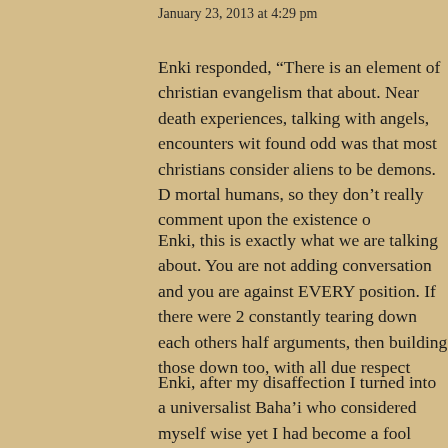January 23, 2013 at 4:29 pm
Enki responded, “There is an element of christian evangelism that about. Near death experiences, talking with angels, encounters wit found odd was that most christians consider aliens to be demons. D mortal humans, so they don’t really comment upon the existence o
Enki, this is exactly what we are talking about. You are not adding conversation and you are against EVERY position. If there were 2 constantly tearing down each others half arguments, then building those down too, with all due respect
Enki, after my disaffection I turned into a universalist Baha’i who considered myself wise yet I had become a fool through all my kno confused others and encouraged none, though in my eyes I was en Looking back it was very scary where I was at! Jesus Christ is the build his life on. But then you respond, “Not so, a Muslim has a so it then. Practice all these world religions. Try to live them out whil daily. On Christ the solid rock I stand, all other ground is sinking